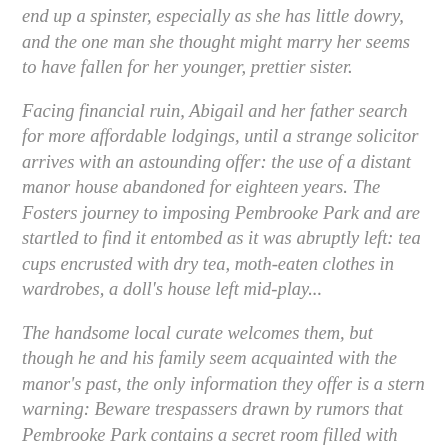end up a spinster, especially as she has little dowry, and the one man she thought might marry her seems to have fallen for her younger, prettier sister.
Facing financial ruin, Abigail and her father search for more affordable lodgings, until a strange solicitor arrives with an astounding offer: the use of a distant manor house abandoned for eighteen years. The Fosters journey to imposing Pembrooke Park and are startled to find it entombed as it was abruptly left: tea cups encrusted with dry tea, moth-eaten clothes in wardrobes, a doll's house left mid-play...
The handsome local curate welcomes them, but though he and his family seem acquainted with the manor's past, the only information they offer is a stern warning: Beware trespassers drawn by rumors that Pembrooke Park contains a secret room filled with treasure.
This catches Abigail's attention. Hoping to restore her family's finances--and her dowry--Abigail looks for this supposed treasure. But eerie sounds at night and footprints in the dust and debris in the attic suggest the mansion is not as abandoned as it first appeared....